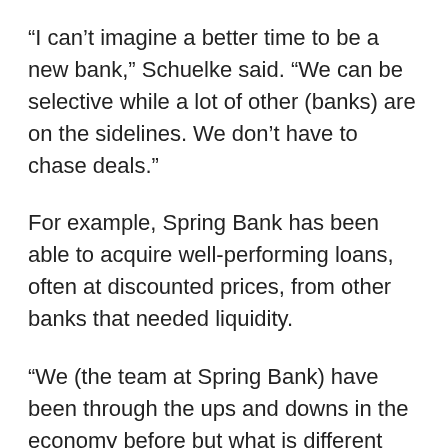“I can’t imagine a better time to be a new bank,” Schuelke said. “We can be selective while a lot of other (banks) are on the sidelines. We don’t have to chase deals.”
For example, Spring Bank has been able to acquire well-performing loans, often at discounted prices, from other banks that needed liquidity.
“We (the team at Spring Bank) have been through the ups and downs in the economy before but what is different about this is that the banks themselves have liquidity and credit concerns,” Schuelke said. “In these times we’re seeing more businesses looking for new banks than we used to. We usually don’t see manufacturers looking for a new bank